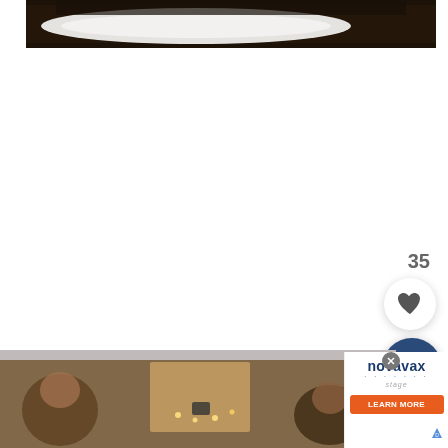[Figure (photo): Top portion of a photo showing a white rectangular plate on a dark wooden table background]
[Figure (photo): Bottom portion showing people gathered around a table with food and lights, viewed from above]
[Figure (other): Number 35 with a heart (favorite/like) button below it and a search magnifying glass button, UI overlay elements]
[Figure (other): Novavax advertisement with logo, Learn More button, close X button, and AdChoices icon]